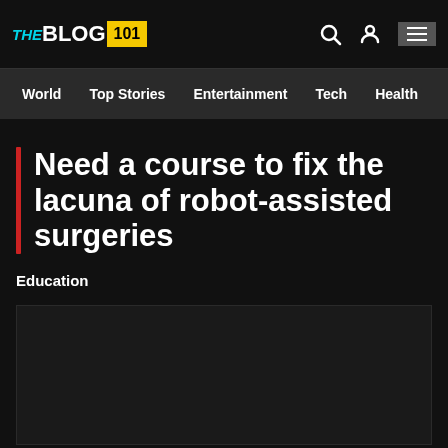THE BLOG 101
World  Top Stories  Entertainment  Tech  Health
Need a course to fix the lacuna of robot-assisted surgeries
Education
[Figure (photo): Dark image placeholder below the article title]